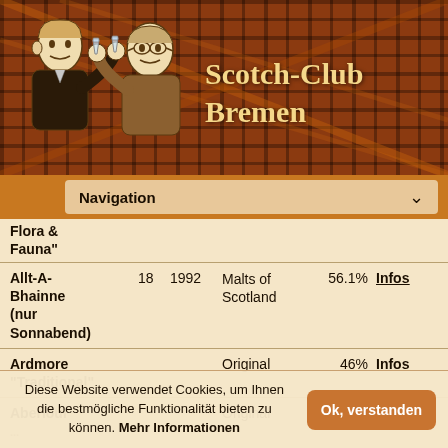[Figure (illustration): Header banner with tartan plaid background in dark red/orange, two illustrated men in vintage style toasting with whisky glasses on the left side]
Scotch-Club Bremen
Navigation
Flora & Fauna"
| Name | Age | Year | Bottler | ABV |  |
| --- | --- | --- | --- | --- | --- |
| Allt-A-Bhainne (nur Sonnabend) | 18 | 1992 | Malts of Scotland | 56.1% | Infos |
| Ardmore "Traditional" |  |  | Original | 46% | Infos |
| Aberlour ... |  |  | Original | 60.4% | Infos |
Diese Website verwendet Cookies, um Ihnen die bestmögliche Funktionalität bieten zu können. Mehr Informationen